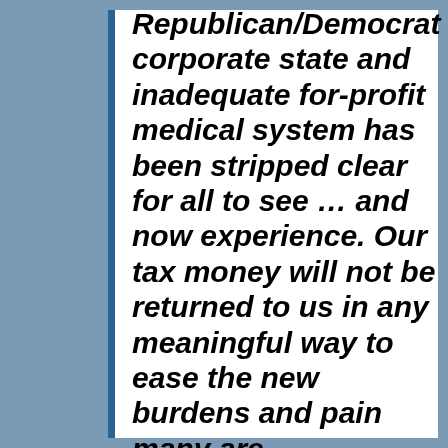Republican/Democrat corporate state and inadequate for-profit medical system has been stripped clear for all to see … and now experience. Our tax money will not be returned to us in any meaningful way to ease the new burdens and pain many are experiencing.